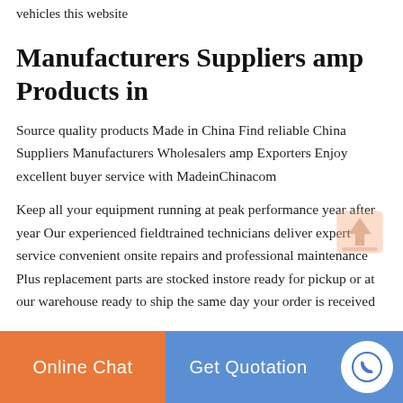vehicles this website
Manufacturers Suppliers amp Products in
Source quality products Made in China Find reliable China Suppliers Manufacturers Wholesalers amp Exporters Enjoy excellent buyer service with MadeinChinacom
Keep all your equipment running at peak performance year after year Our experienced fieldtrained technicians deliver expert service convenient onsite repairs and professional maintenance Plus replacement parts are stocked instore ready for pickup or at our warehouse ready to ship the same day your order is received
Online Chat | Get Quotation